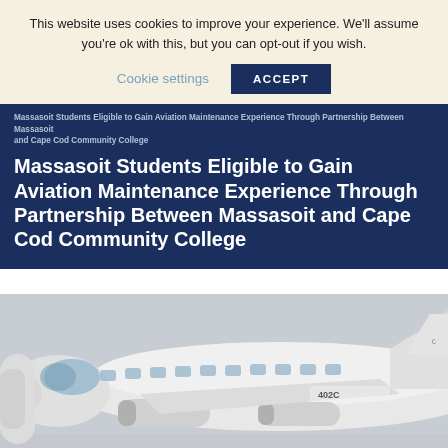This website uses cookies to improve your experience. We'll assume you're ok with this, but you can opt-out if you wish.
Cookie settings  ACCEPT
Massasoit Students Eligible to Gain Aviation Maintenance Experience Through Partnership Between Massasoit and Cape Cod Community College
Massasoit Students Eligible to Gain Aviation Maintenance Experience Through Partnership Between Massasoit and Cape Cod Community College
[Figure (photo): Photo of a small white airplane, partially visible, showing the nose and fuselage with registration number 402C visible on the side, against an overcast sky.]